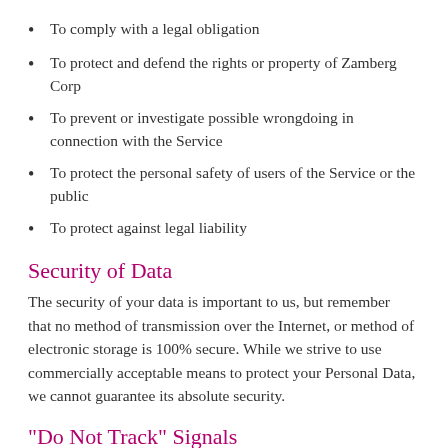To comply with a legal obligation
To protect and defend the rights or property of Zamberg Corp
To prevent or investigate possible wrongdoing in connection with the Service
To protect the personal safety of users of the Service or the public
To protect against legal liability
Security of Data
The security of your data is important to us, but remember that no method of transmission over the Internet, or method of electronic storage is 100% secure. While we strive to use commercially acceptable means to protect your Personal Data, we cannot guarantee its absolute security.
"Do Not Track" Signals